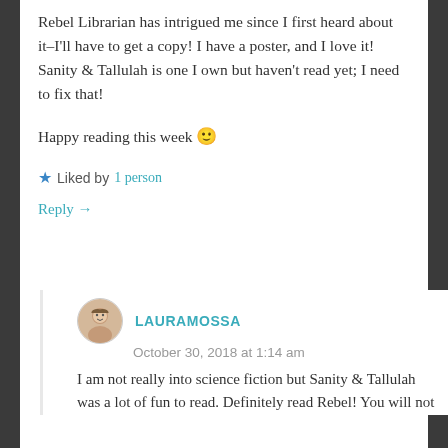Rebel Librarian has intrigued me since I first heard about it–I'll have to get a copy! I have a poster, and I love it!
Sanity & Tallulah is one I own but haven't read yet; I need to fix that!
Happy reading this week 🙂
★ Liked by 1person
Reply →
LAURAMOSSA
October 30, 2018 at 1:14 am
I am not really into science fiction but Sanity & Tallulah was a lot of fun to read. Definitely read Rebel! You will not